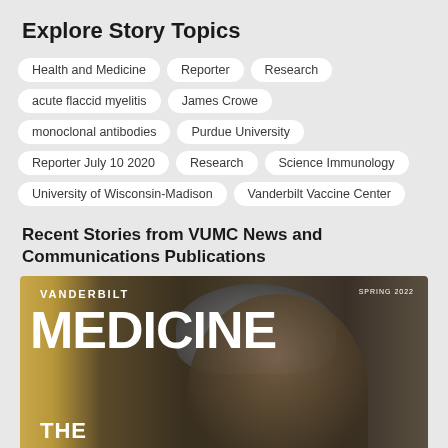Explore Story Topics
Health and Medicine
Reporter
Research
acute flaccid myelitis
James Crowe
monoclonal antibodies
Purdue University
Reporter July 10 2020
Research
Science Immunology
University of Wisconsin-Madison
Vanderbilt Vaccine Center
Recent Stories from VUMC News and Communications Publications
[Figure (photo): Cover of Vanderbilt Medicine magazine, Spring 2022 issue, showing the text VANDERBILT at top left, MEDICINE in large white letters, and THE at the bottom left, with a portrait of an elderly woman with gray hair.]